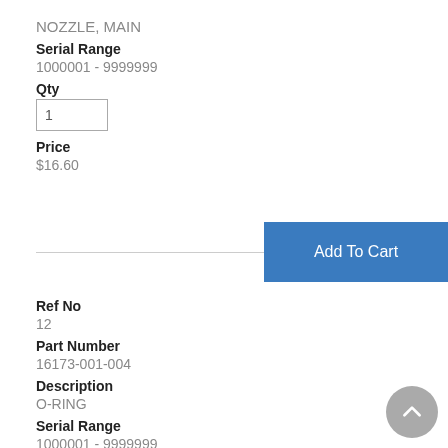NOZZLE, MAIN
Serial Range
1000001 - 9999999
Qty
1
Price
$16.60
Add To Cart
Ref No
12
Part Number
16173-001-004
Description
O-RING
Serial Range
1000001 - 9999999
Qty
1